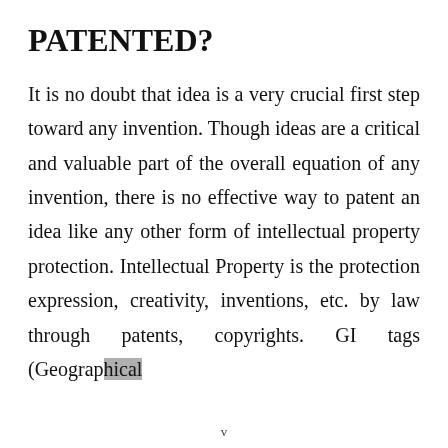PATENTED?
It is no doubt that idea is a very crucial first step toward any invention. Though ideas are a critical and valuable part of the overall equation of any invention, there is no effective way to patent an idea like any other form of intellectual property protection. Intellectual Property is the protection expression, creativity, inventions, etc. by law through patents, copyrights. GI tags (Geographical
v